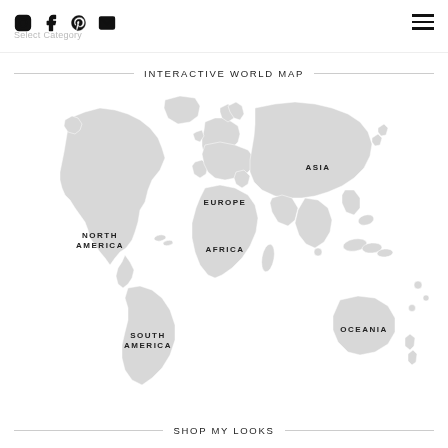Social icons: Instagram, Facebook, Pinterest, Email | Hamburger menu | Select Category
INTERACTIVE WORLD MAP
[Figure (map): Interactive world map showing labeled continents: North America, South America, Europe, Africa, Asia, Oceania. Map is flat/silhouette style in light gray on white background.]
SHOP MY LOOKS